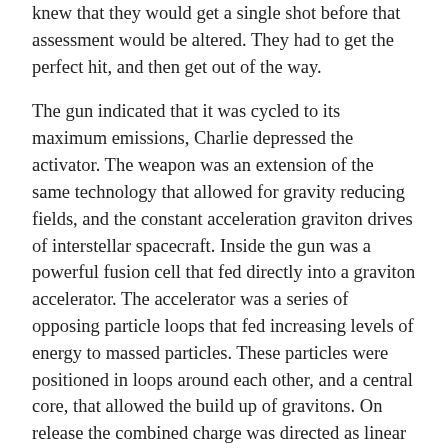knew that they would get a single shot before that assessment would be altered. They had to get the perfect hit, and then get out of the way.
The gun indicated that it was cycled to its maximum emissions, Charlie depressed the activator. The weapon was an extension of the same technology that allowed for gravity reducing fields, and the constant acceleration graviton drives of interstellar spacecraft. Inside the gun was a powerful fusion cell that fed directly into a graviton accelerator. The accelerator was a series of opposing particle loops that fed increasing levels of energy to massed particles. These particles were positioned in loops around each other, and a central core, that allowed the build up of gravitons. On release the combined charge was directed as linear gravity. The effect was a frame shift that disrupted any particles it passed through. Literally tearing matter apart on a molecular level.
The beam had two severe drawbacks. It would quickly lose